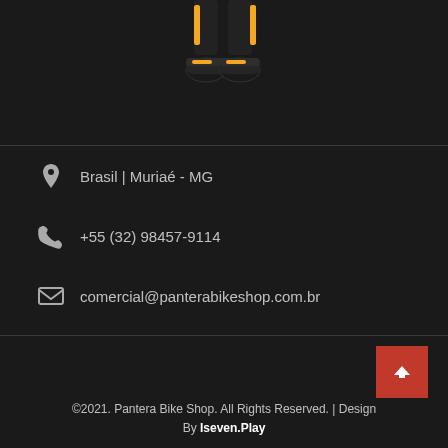[Figure (photo): Lower half of a person in black and yellow cycling/sport gear, showing legs and shoes against a dark background]
Brasil | Muriaé - MG
+55 (32) 98457-9114
comercial@panterabikeshop.com.br
©2021. Pantera Bike Shop. All Rights Reserved. | Design By Iseven.Play